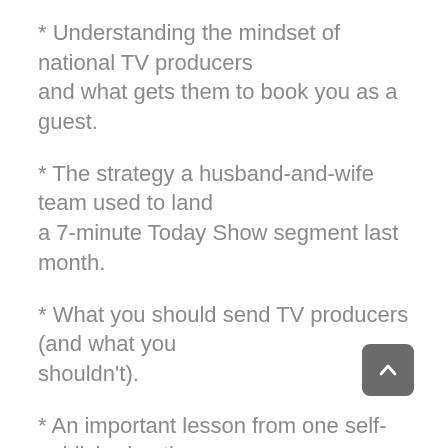* Understanding the mindset of national TV producers and what gets them to book you as a guest.
* The strategy a husband-and-wife team used to land a 7-minute Today Show segment last month.
* What you should send TV producers (and what you shouldn't).
* An important lesson from one self-published author who got on Oprah and saw sales soar as a result.
* The most important question you must be able to